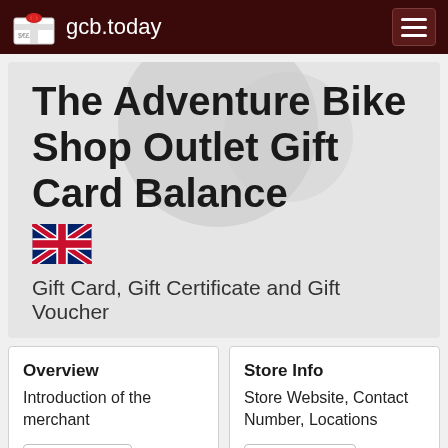gcb.today
The Adventure Bike Shop Outlet Gift Card Balance
[Figure (illustration): UK flag (Union Jack)]
Gift Card, Gift Certificate and Gift Voucher
Overview
Introduction of the merchant
Overview »
Store Info
Store Website, Contact Number, Locations
Store Info »